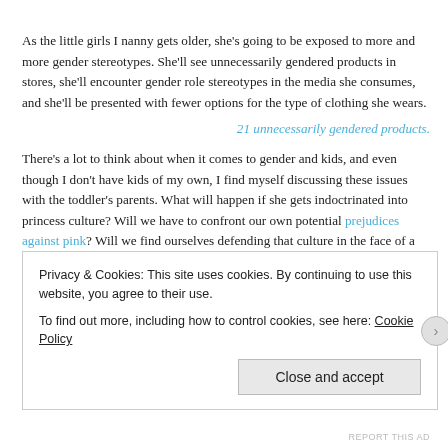As the little girls I nanny gets older, she's going to be exposed to more and more gender stereotypes. She'll see unnecessarily gendered products in stores, she'll encounter gender role stereotypes in the media she consumes, and she'll be presented with fewer options for the type of clothing she wears.
21 unnecessarily gendered products.
There's a lot to think about when it comes to gender and kids, and even though I don't have kids of my own, I find myself discussing these issues with the toddler's parents. What will happen if she gets indoctrinated into princess culture? Will we have to confront our own potential prejudices against pink? Will we find ourselves defending that culture in the face of a non-girly girl?
In the meantime, I will continue to praise her for taking turns, for her attempts to
Privacy & Cookies: This site uses cookies. By continuing to use this website, you agree to their use.
To find out more, including how to control cookies, see here: Cookie Policy
Close and accept
REPORT THIS AD